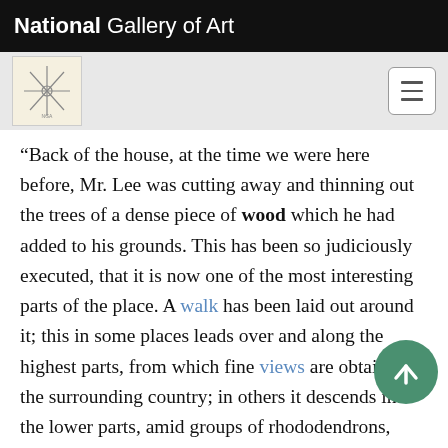National Gallery of Art
“Back of the house, at the time we were here before, Mr. Lee was cutting away and thinning out the trees of a dense piece of wood which he had added to his grounds. This has been so judiciously executed, that it is now one of the most interesting parts of the place. A walk has been laid out around it; this in some places leads over and along the highest parts, from which fine views are obtained of the surrounding country; in others it descends into the lower parts, amid groups of rhododendrons, kalmias, and fine flowering plants, along shaded walks and under portions of the wood, from whence the…